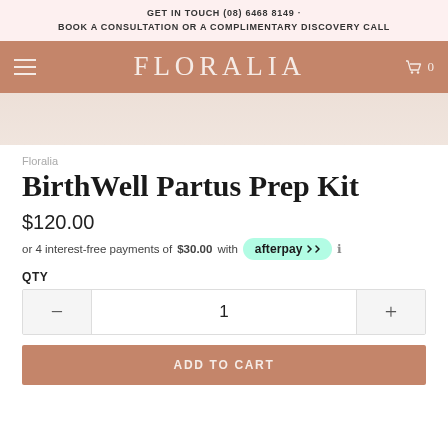GET IN TOUCH (08) 6468 8149 · BOOK A CONSULTATION OR A COMPLIMENTARY DISCOVERY CALL
FLORALIA
[Figure (photo): Partial product image strip in a beige/blush tone]
Floralia
BirthWell Partus Prep Kit
$120.00
or 4 interest-free payments of $30.00 with afterpay ℹ
QTY
1
ADD TO CART